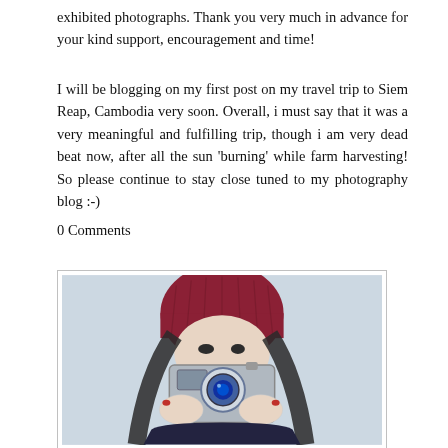exhibited photographs. Thank you very much in advance for your kind support, encouragement and time!
I will be blogging on my first post on my travel trip to Siem Reap, Cambodia very soon. Overall, i must say that it was a very meaningful and fulfilling trip, though i am very dead beat now, after all the sun 'burning' while farm harvesting! So please continue to stay close tuned to my photography blog :-)
0 Comments
[Figure (illustration): Illustrated drawing of a person wearing a dark red knit beanie hat with long dark hair, holding a vintage film camera up to their face in a light blue background]